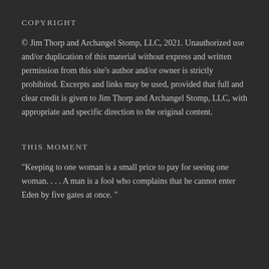COPYRIGHT
© Jim Thorp and Archangel Stomp, LLC, 2021. Unauthorized use and/or duplication of this material without express and written permission from this site's author and/or owner is strictly prohibited. Excerpts and links may be used, provided that full and clear credit is given to Jim Thorp and Archangel Stomp, LLC, with appropriate and specific direction to the original content.
THIS MOMENT
“Keeping to one woman is a small price to pay for seeing one woman. . . . A man is a fool who complains that he cannot enter Eden by five gates at once.”